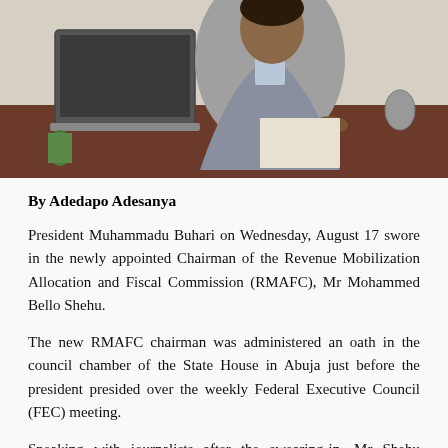[Figure (photo): A person in a grey suit sitting at a desk with a laptop, writing on paper. The desk appears to be in an office setting.]
By Adedapo Adesanya
President Muhammadu Buhari on Wednesday, August 17 swore in the newly appointed Chairman of the Revenue Mobilization Allocation and Fiscal Commission (RMAFC), Mr Mohammed Bello Shehu.
The new RMAFC chairman was administered an oath in the council chamber of the State House in Abuja just before the president presided over the weekly Federal Executive Council (FEC) meeting.
Speaking with journalists after the swearing-in, Mr Shehu explained that although the task ahead of him is